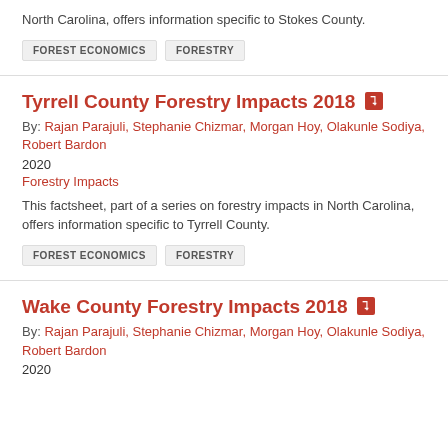North Carolina, offers information specific to Stokes County.
FOREST ECONOMICS
FORESTRY
Tyrrell County Forestry Impacts 2018
By: Rajan Parajuli, Stephanie Chizmar, Morgan Hoy, Olakunle Sodiya, Robert Bardon
2020
Forestry Impacts
This factsheet, part of a series on forestry impacts in North Carolina, offers information specific to Tyrrell County.
FOREST ECONOMICS
FORESTRY
Wake County Forestry Impacts 2018
By: Rajan Parajuli, Stephanie Chizmar, Morgan Hoy, Olakunle Sodiya, Robert Bardon
2020